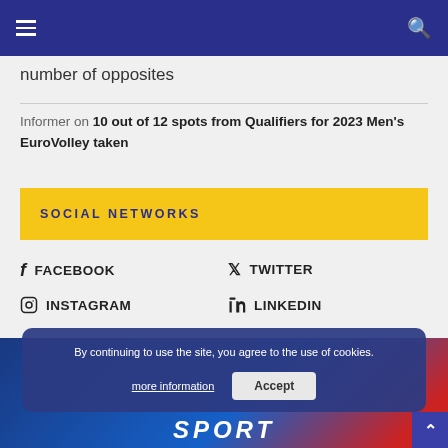Navigation bar with hamburger menu and search icon
number of opposites
Informer on 10 out of 12 spots from Qualifiers for 2023 Men's EuroVolley taken
SOCIAL NETWORKS
FACEBOOK
TWITTER
INSTAGRAM
LINKEDIN
By continuing to use the site, you agree to the use of cookies.
more information
Accept